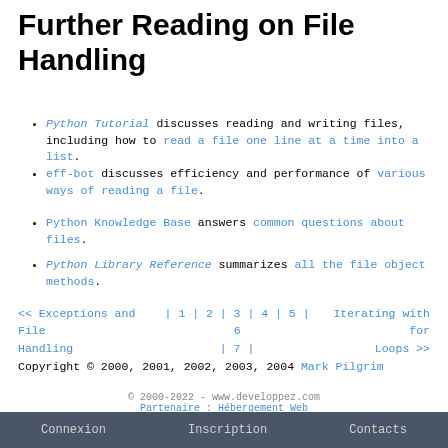Further Reading on File Handling
Python Tutorial discusses reading and writing files, including how to read a file one line at a time into a list.
eff-bot discusses efficiency and performance of various ways of reading a file.
Python Knowledge Base answers common questions about files.
Python Library Reference summarizes all the file object methods.
<< Exceptions and File Handling | 1 | 2 | 3 | 4 | 5 | 6 | 7 | Iterating with for Loops >>
Copyright © 2000, 2001, 2002, 2003, 2004 Mark Pilgrim
© 2000-2022 - www.developpez.com
Partenaire : Hébergement Web
Connexion  Inscription  Contacts